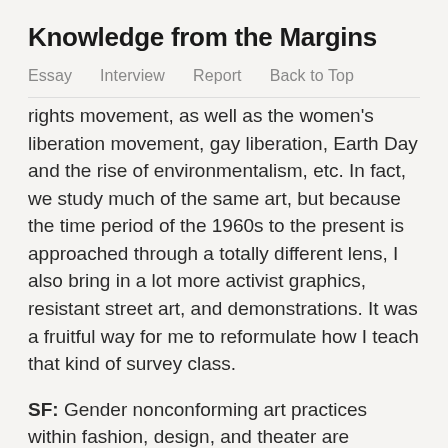Knowledge from the Margins
Essay   Interview   Report   Back to Top
rights movement, as well as the women's liberation movement, gay liberation, Earth Day and the rise of environmentalism, etc. In fact, we study much of the same art, but because the time period of the 1960s to the present is approached through a totally different lens, I also bring in a lot more activist graphics, resistant street art, and demonstrations. It was a fruitful way for me to reformulate how I teach that kind of survey class.
SF: Gender nonconforming art practices within fashion, design, and theater are becoming more mainstream. What is your